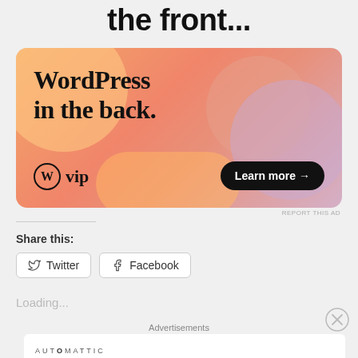the front...
[Figure (illustration): WordPress VIP advertisement banner with colorful gradient blobs background (orange, pink, lavender). Text reads 'WordPress in the back.' with WordPress VIP logo and 'Learn more →' button.]
Share this:
Twitter
Facebook
Loading...
Advertisements
[Figure (screenshot): Automattic advertisement: logo text 'AUTOMATTIC' and tagline 'Build a better web and a better world.']